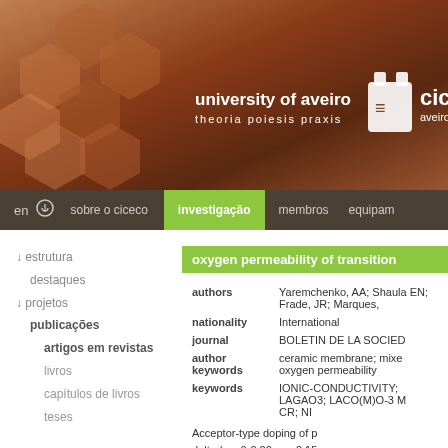[Figure (screenshot): University of Aveiro / CICECO header with hexagonal ceramic tiles background in brown/sepia tones, showing institution logos and names]
university of aveiro theoria poiesis praxis | ciceco aveiro institute
en | sobre o ciceco | investigação | membros | equipam
↓ estrutura
destaques
↓ projetos
publicações
artigos em revistas
livros
capítulos de livros
teses
oxygen permeability of transition
| field | value |
| --- | --- |
| authors | Yaremchenko, AA; Shaula EN; Frade, JR; Marques, |
| nationality | International |
| journal | BOLETIN DE LA SOCIED |
| author keywords | ceramic membrane; mixe oxygen permeability |
| keywords | IONIC-CONDUCTIVITY; LAGAO3; LACO(M)O-3 M CR; NI |
Acceptor-type doping of p delta (x = 0-0.20, y = 0.15 enhancement of ionic com increasing oxygen vacan